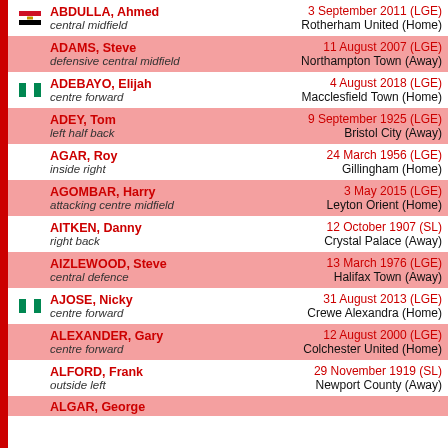ABDULLA, Ahmed | central midfield | 3 September 2011 (LGE) | Rotherham United (Home)
ADAMS, Steve | defensive central midfield | 11 August 2007 (LGE) | Northampton Town (Away)
ADEBAYO, Elijah | centre forward | 4 August 2018 (LGE) | Macclesfield Town (Home)
ADEY, Tom | left half back | 9 September 1925 (LGE) | Bristol City (Away)
AGAR, Roy | inside right | 24 March 1956 (LGE) | Gillingham (Home)
AGOMBAR, Harry | attacking centre midfield | 3 May 2015 (LGE) | Leyton Orient (Home)
AITKEN, Danny | right back | 12 October 1907 (SL) | Crystal Palace (Away)
AIZLEWOOD, Steve | central defence | 13 March 1976 (LGE) | Halifax Town (Away)
AJOSE, Nicky | centre forward | 31 August 2013 (LGE) | Crewe Alexandra (Home)
ALEXANDER, Gary | centre forward | 12 August 2000 (LGE) | Colchester United (Home)
ALFORD, Frank | outside left | 29 November 1919 (SL) | Newport County (Away)
ALGAR, George